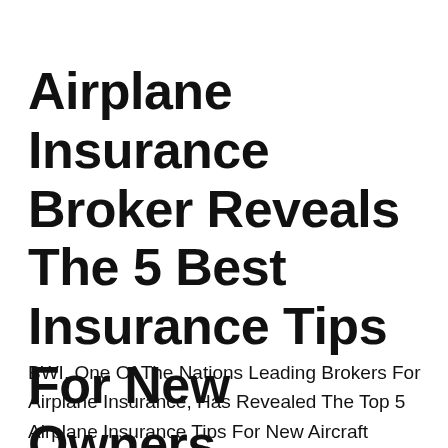Airplane Insurance Broker Reveals The 5 Best Insurance Tips For New Owners
BWI, One Of The Nations Leading Brokers For Airplane Insurance, Has Revealed The Top 5 Airplane Insurance Tips For New Aircraft Owners